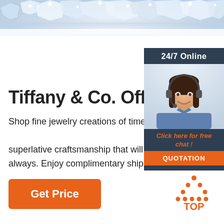[Figure (photo): Close-up of sparkling diamonds/crystals jewelry at the top of the page]
Tiffany & Co. Official
Shop fine jewelry creations of timeless beauty and superlative craftsmanship that will be treasured always. Enjoy complimentary shipping and returns on all orders.
[Figure (infographic): 24/7 Online customer service widget with photo of female agent wearing a headset, orange 'Click here for free chat!' text, and orange QUOTATION button]
[Figure (other): Orange 'Get Price' button]
[Figure (logo): Orange dotted triangle TOP icon in bottom right corner]